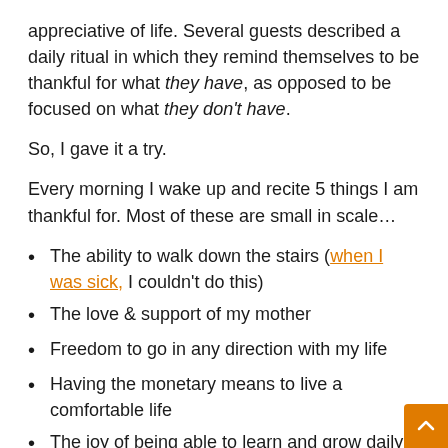appreciative of life. Several guests described a daily ritual in which they remind themselves to be thankful for what they have, as opposed to be focused on what they don't have.
So, I gave it a try.
Every morning I wake up and recite 5 things I am thankful for. Most of these are small in scale…
The ability to walk down the stairs (when I was sick, I couldn't do this)
The love & support of my mother
Freedom to go in any direction with my life
Having the monetary means to live a comfortable life
The joy of being able to learn and grow daily
As simple as some of these sound, there are millions (maybe billions) of people who would die